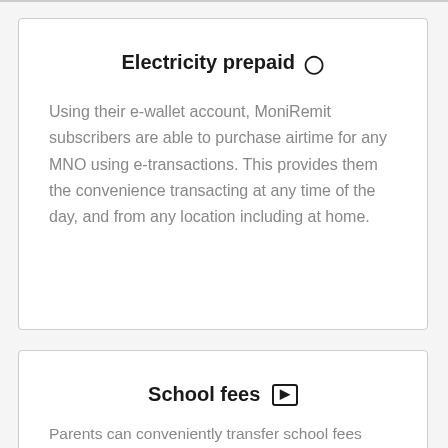Electricity prepaid ⊙
Using their e-wallet account, MoniRemit subscribers are able to purchase airtime for any MNO using e-transactions. This provides them the convenience transacting at any time of the day, and from any location including at home.
School fees 🔒
Parents can conveniently transfer school fees from the comfort of their home without